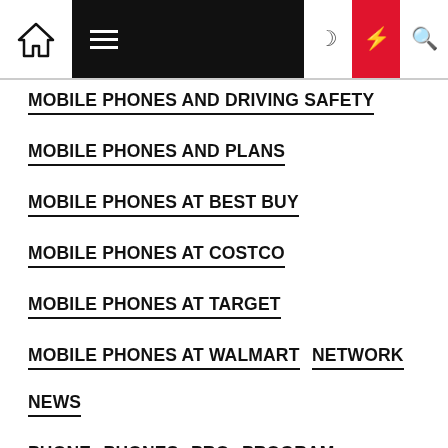Navigation bar with home, menu, moon, bolt, search icons
MOBILE PHONES AND DRIVING SAFETY
MOBILE PHONES AND PLANS
MOBILE PHONES AT BEST BUY
MOBILE PHONES AT COSTCO
MOBILE PHONES AT TARGET
MOBILE PHONES AT WALMART
NETWORK
NEWS
PHONE
PHONES
PRO
PROGRAM
REVIEW
SAMSUNG MOBILE PHONES
SERVICE
SERVICES
SIM FREE MOBILE PHONES
SOFTWARE
TECH
TECHNOLOGY
TESCO MOBILE PHONES
TOP
WEB
WEBSITE